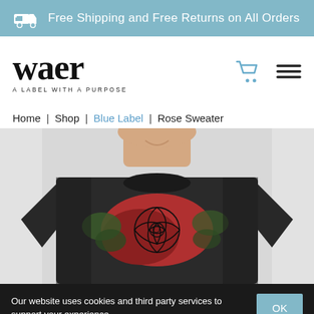Free Shipping and Free Returns on All Orders
[Figure (logo): waer logo — handwritten style text with tagline 'A LABEL WITH A PURPOSE']
Home | Shop | Blue Label | Rose Sweater
[Figure (photo): Man wearing a dark/black long-sleeve sweater with a rose graphic print on the chest, smiling, photographed from the chin down with a light grey background]
Our website uses cookies and third party services to support your experience.